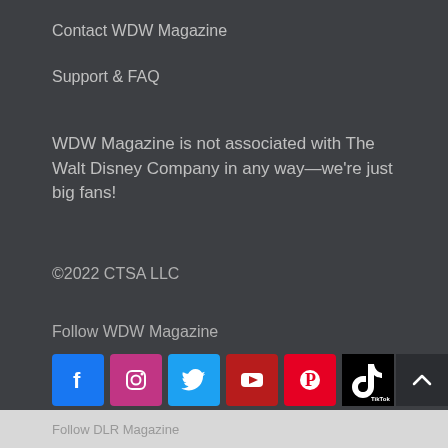Contact WDW Magazine
Support & FAQ
WDW Magazine is not associated with The Walt Disney Company in any way—we're just big fans!
©2022 CTSA LLC
Follow WDW Magazine
[Figure (infographic): Social media icons row: Facebook (blue), Instagram (pink/purple), Twitter (light blue), YouTube (dark red), Pinterest (red), TikTok (black)]
Follow DLR Magazine
[Figure (infographic): Social media icons: Facebook (blue), Instagram (pink/purple)]
Follow DLR Magazine